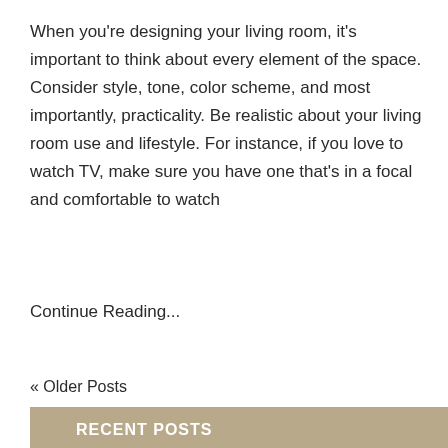When you're designing your living room, it's important to think about every element of the space. Consider style, tone, color scheme, and most importantly, practicality. Be realistic about your living room use and lifestyle. For instance, if you love to watch TV, make sure you have one that's in a focal and comfortable to watch
Continue Reading...
« Older Posts
RECENT POSTS
How To Wash Outdoor Cushions and Their Covers
How To Prevent Slipcovers From Sliding Around
Create a Luxury Daybed Oasis With These Tips